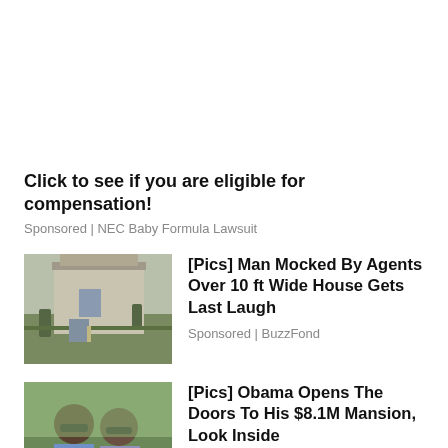Click to see if you are eligible for compensation!
Sponsored | NEC Baby Formula Lawsuit
[Figure (photo): Photo of a narrow two-story house exterior with trees and landscaping]
[Pics] Man Mocked By Agents Over 10 ft Wide House Gets Last Laugh
Sponsored | BuzzFond
[Figure (photo): Photo of Obama and a woman wearing sunglasses outdoors]
[Pics] Obama Opens The Doors To His $8.1M Mansion, Look Inside